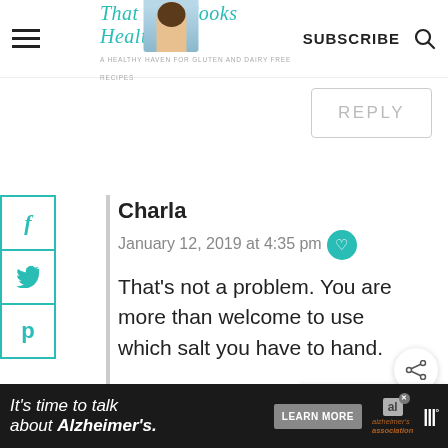[Figure (screenshot): Website header with hamburger menu, That Girl Cooks Healthy logo with woman portrait, SUBSCRIBE text and search icon]
REPLY
[Figure (infographic): Social media share buttons on left sidebar: Facebook (f), Twitter (bird), Pinterest (P) in teal outlined boxes]
Charla
January 12, 2019 at 4:35 pm
That's not a problem. You are more than welcome to use which salt you have to hand.
WHAT'S NEXT → Sweet Potato Pie Smoothi...
It's time to talk about Alzheimer's.
LEARN MORE